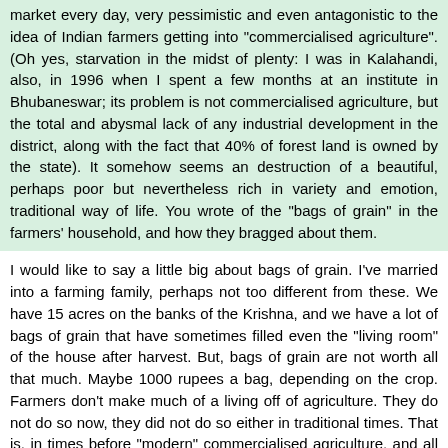market every day, very pessimistic and even antagonistic to the idea of Indian farmers getting into "commercialised agriculture". (Oh yes, starvation in the midst of plenty: I was in Kalahandi, also, in 1996 when I spent a few months at an institute in Bhubaneswar; its problem is not commercialised agriculture, but the total and abysmal lack of any industrial development in the district, along with the fact that 40% of forest land is owned by the state). It somehow seems an destruction of a beautiful, perhaps poor but nevertheless rich in variety and emotion, traditional way of life. You wrote of the "bags of grain" in the farmers' household, and how they bragged about them.
I would like to say a little big about bags of grain. I've married into a farming family, perhaps not too different from these. We have 15 acres on the banks of the Krishna, and we have a lot of bags of grain that have sometimes filled even the "living room" of the house after harvest. But, bags of grain are not worth all that much. Maybe 1000 rupees a bag, depending on the crop. Farmers don't make much of a living off of agriculture. They do not do so now, they did not do so either in traditional times. That is, in times before "modern" commercialised agriculture, and all the